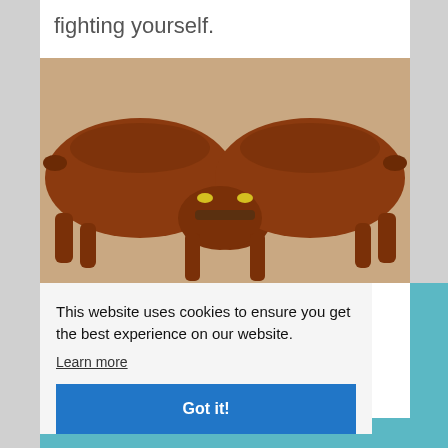fighting yourself.
[Figure (photo): Two brown goats facing each other touching horns/heads, locked in a butting contest, photographed from above on a sandy/rocky ground surface.]
This website uses cookies to ensure you get the best experience on our website.
Learn more
Got it!